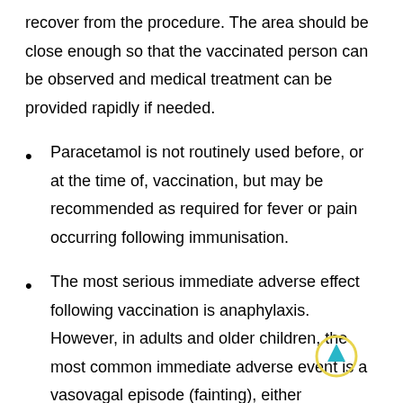recover from the procedure. The area should be close enough so that the vaccinated person can be observed and medical treatment can be provided rapidly if needed.
Paracetamol is not routinely used before, or at the time of, vaccination, but may be recommended as required for fever or pain occurring following immunisation.
The most serious immediate adverse effect following vaccination is anaphylaxis. However, in adults and older children, the most common immediate adverse event is a vasovagal episode (fainting), either immediately or soon after vaccination. Because this